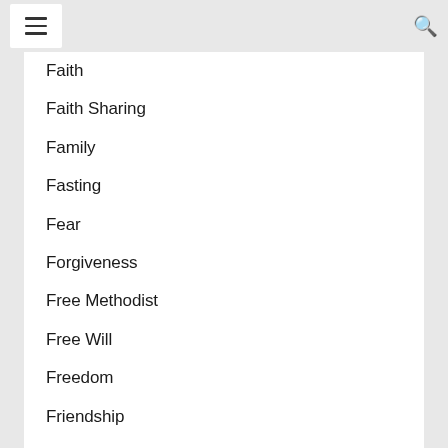Navigation header with hamburger menu and search icon
Faith
Faith Sharing
Family
Fasting
Fear
Forgiveness
Free Methodist
Free Will
Freedom
Friendship
Funeral
Funerals
Gender
Genesis
Global